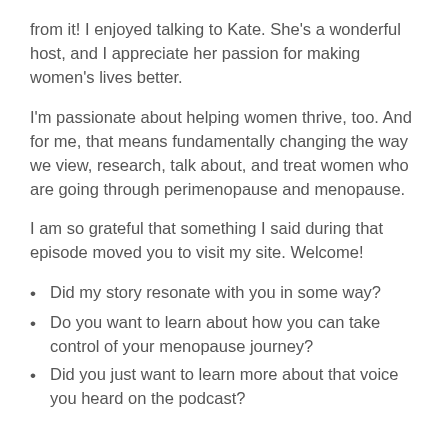from it! I enjoyed talking to Kate. She's a wonderful host, and I appreciate her passion for making women's lives better.
I'm passionate about helping women thrive, too. And for me, that means fundamentally changing the way we view, research, talk about, and treat women who are going through perimenopause and menopause.
I am so grateful that something I said during that episode moved you to visit my site. Welcome!
Did my story resonate with you in some way?
Do you want to learn about how you can take control of your menopause journey?
Did you just want to learn more about that voice you heard on the podcast?